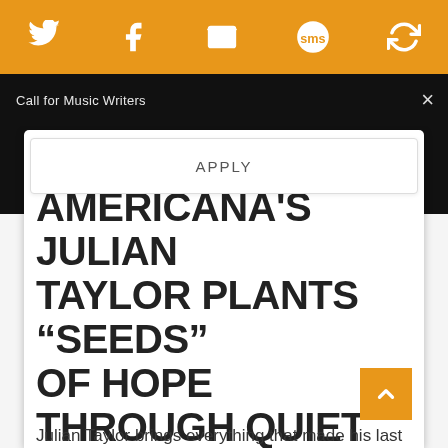[Figure (screenshot): Orange social sharing bar at top with Twitter, Facebook, email, SMS, and another icon in white on orange background]
Call for Music Writers
APPLY
Photo: Lisa MacIntosh / Courtesy of PR
AMERICANA'S JULIAN TAYLOR PLANTS “SEEDS” OF HOPE THROUGH QUIET PROTEST (PREMIERE)
Julian Taylor brings everything that made his last